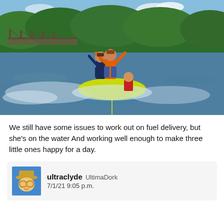[Figure (photo): Three children riding a yellow inflatable towable tube on a river. Two children stand with arms raised, one sits at the back. A bridge and tree-covered hills are visible in the background under a partly cloudy sky.]
We still have some issues to work out on fuel delivery, but she's on the water And working well enough to make three little ones happy for a day.
[Figure (photo): User avatar showing a cartoon character wearing a hat and glasses.]
ultraclyde UltimaDork
7/1/21 9:05 p.m.